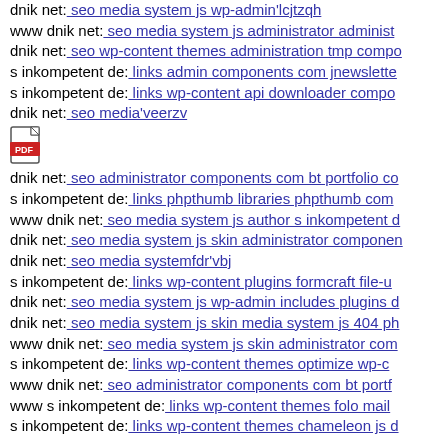dnik net: seo media system js wp-admin'lcjtzqh
www dnik net: seo media system js administrator administ...
dnik net: seo wp-content themes administration tmp compo...
s inkompetent de: links admin components com jnewslette...
s inkompetent de: links wp-content api downloader compo...
dnik net: seo media'veerzv
[Figure (illustration): PDF file icon]
dnik net: seo administrator components com bt portfolio co...
s inkompetent de: links phpthumb libraries phpthumb com...
www dnik net: seo media system js author s inkompetent d...
dnik net: seo media system js skin administrator componen...
dnik net: seo media systemfdr'vbj
s inkompetent de: links wp-content plugins formcraft file-u...
dnik net: seo media system js wp-admin includes plugins d...
dnik net: seo media system js skin media system js 404 ph...
www dnik net: seo media system js skin administrator com...
s inkompetent de: links wp-content themes optimize wp-c...
www dnik net: seo administrator components com bt portf...
www s inkompetent de: links wp-content themes folo mail...
s inkompetent de: links wp-content themes chameleon js d...